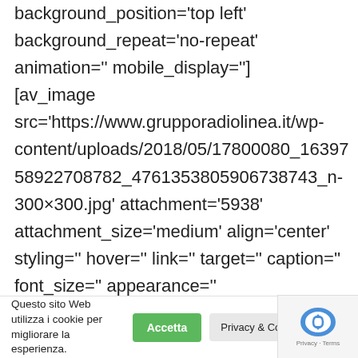background_position='top left' background_repeat='no-repeat' animation='' mobile_display=''] [av_image src='https://www.grupporadiolinea.it/wp-content/uploads/2018/05/17800080_163975892270878 2_4761353805906738743_n-300×300.jpg' attachment='5938' attachment_size='medium' align='center' styling='' hover='' link='' target='' caption='' font_size='' appearance=''
Questo sito Web utilizza i cookie per migliorare la esperienza.